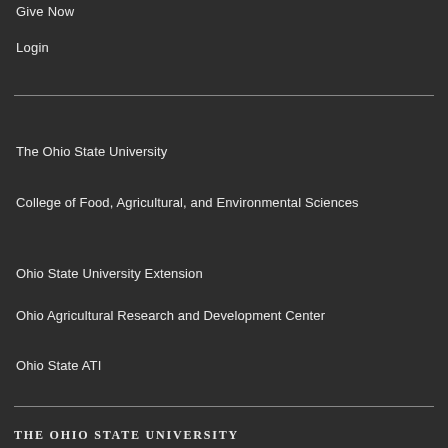Give Now
Login
The Ohio State University
College of Food, Agricultural, and Environmental Sciences
Ohio State University Extension
Ohio Agricultural Research and Development Center
Ohio State ATI
The Ohio State University